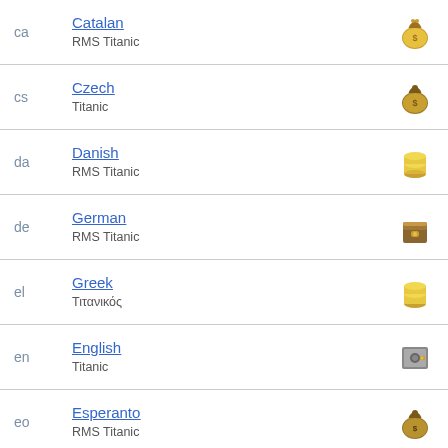ca | Catalan | RMS Titanic
cs | Czech | Titanic
da | Danish | RMS Titanic
de | German | RMS Titanic
el | Greek | Τιτανικός
en | English | Titanic
eo | Esperanto | RMS Titanic
es | Spanish | RMS Titanic
et | Estonian | ...